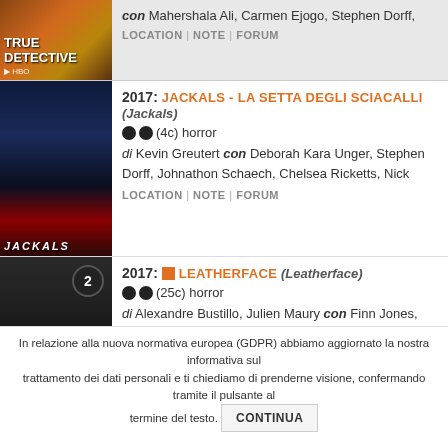[Figure (screenshot): True Detective HBO movie poster thumbnail - warm orange/brown tones]
con Mahershala Ali, Carmen Ejogo, Stephen Dorff,
LOCATION | NOTE | FORUM
[Figure (screenshot): Jackals movie poster - dark blue/red tones with silhouetted figures]
2017: JACKALS - LA SETTA DEGLI SCIACALLI (Jackals)
●● (4c) horror
di Kevin Greutert con Deborah Kara Unger, Stephen Dorff, Johnathon Schaech, Chelsea Ricketts, Nick
LOCATION | NOTE | FORUM
[Figure (screenshot): Leatherface movie poster - dark grey/black tones with armored figure]
2017: LEATHERFACE (Leatherface)
●● (25c) horror
di Alexandre Bustillo, Julien Maury con Finn Jones, Stephen Dorff, Lili Taylor, Nicole Andrews, James
LOCATION | NOTE | FORUM
In relazione alla nuova normativa europea (GDPR) abbiamo aggiornato la nostra informativa sul trattamento dei dati personali e ti chiediamo di prenderne visione, confermando tramite il pulsante al termine del testo.
CONTINUA